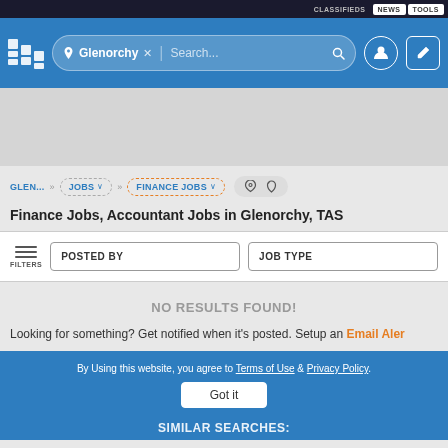CLASSIFIEDS  NEWS  TOOLS
[Figure (screenshot): Job search website header with Glenorchy location filter and search bar]
GLEN... >> JOBS >> FINANCE JOBS
Finance Jobs, Accountant Jobs in Glenorchy, TAS
FILTERS  POSTED BY  JOB TYPE
NO RESULTS FOUND!
Looking for something? Get notified when it's posted. Setup an Email Alert
By Using this website, you agree to Terms of Use & Privacy Policy.
Got it
SIMILAR SEARCHES: